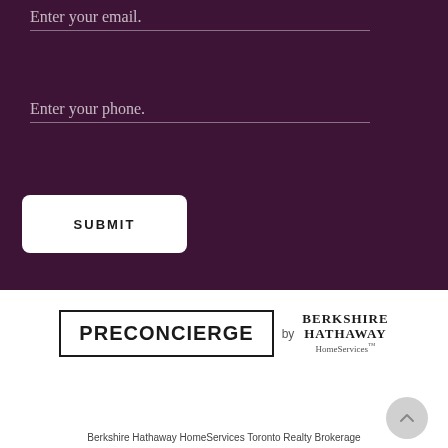Enter your email.
Enter your phone.
SUBMIT
[Figure (logo): PRECONCIERGE by BERKSHIRE HATHAWAY HomeServices logo]
Berkshire Hathaway HomeServices Toronto Realty Brokerage